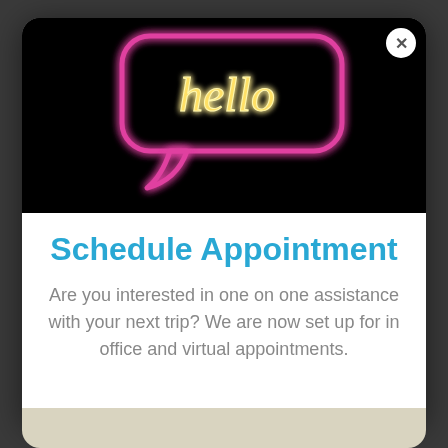[Figure (photo): Neon pink speech bubble sign with the word 'hello' written in glowing cursive on a black background]
Schedule Appointment
Are you interested in one on one assistance with your next trip? We are now set up for in office and virtual appointments.